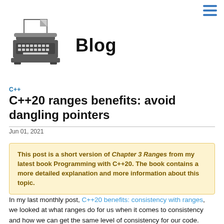[Figure (logo): Typewriter icon in dark gray]
Blog
C++
C++20 ranges benefits: avoid dangling pointers
Jun 01, 2021
This post is a short version of Chapter 3 Ranges from my latest book Programming with C++20. The book contains a more detailed explanation and more information about this topic.
In my last monthly post, C++20 benefits: consistency with ranges, we looked at what ranges do for us when it comes to consistency and how we can get the same level of consistency for our code.